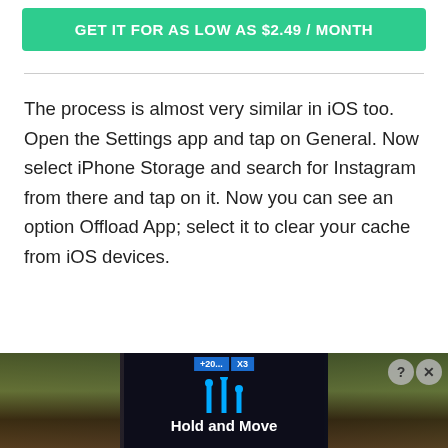[Figure (other): Green call-to-action button with text: GET IT FOR AS LOW AS $2.49 / MONTH]
The process is almost very similar in iOS too. Open the Settings app and tap on General. Now select iPhone Storage and search for Instagram from there and tap on it. Now you can see an option Offload App; select it to clear your cache from iOS devices.
[Figure (screenshot): Advertisement banner at the bottom showing a dark background with trees on the sides, central panel with blue walking figure icons and text 'Hold and Move'. Has close/help button controls in top right corner.]